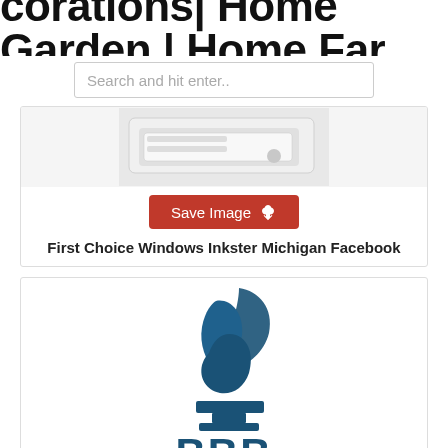corations| Home Garden | Home Far
Search and hit enter..
[Figure (photo): Close-up photo of white window hardware/frame detail]
Save Image
First Choice Windows Inkster Michigan Facebook
[Figure (logo): Better Business Bureau (BBB) logo showing the torch and shield emblem with 'BBB' text in dark teal/navy blue]